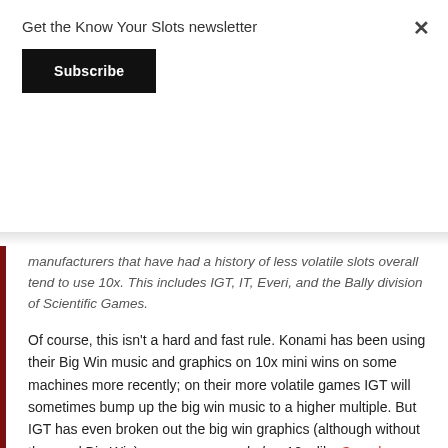Get the Know Your Slots newsletter
Subscribe
manufacturers that have had a history of less volatile slots overall tend to use 10x. This includes IGT, IT, Everi, and the Bally division of Scientific Games.
Of course, this isn't a hard and fast rule. Konami has been using their Big Win music and graphics on 10x mini wins on some machines more recently; on their more volatile games IGT will sometimes bump up the big win music to a higher multiple. But IGT has even broken out the big win graphics (although without the word Big Win) on some games below 10x, like Scarab.
Why would manufacturers give different definitions? On lower volatility games, since the pays come more frequently, but are smaller, a 10x win is a bit unusual for